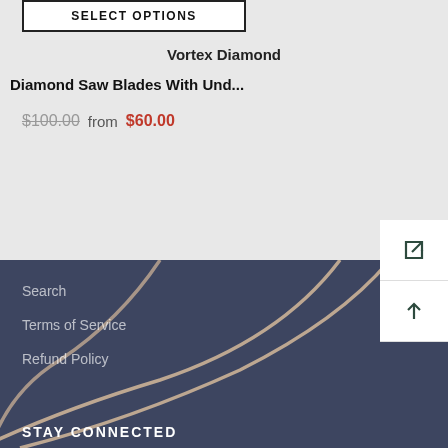SELECT OPTIONS
Vortex Diamond
Diamond Saw Blades With Und...
$100.00  from  $60.00
Search
Terms of Service
Refund Policy
STAY CONNECTED